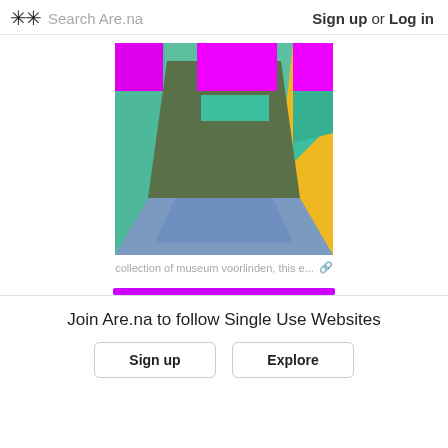✳︎✳︎ Search Are.na   Sign up or Log in
[Figure (illustration): Abstract geometric interior room illustration with magenta/pink rectangles at top, teal/green rectangles, a large dark olive/green back wall, blue floor area, and yellow/gold right wall panel. Perspective room view with bold flat colors.]
collection of museum voorlinden, this e... 🔗
Join Are.na to follow Single Use Websites
Sign up   Explore